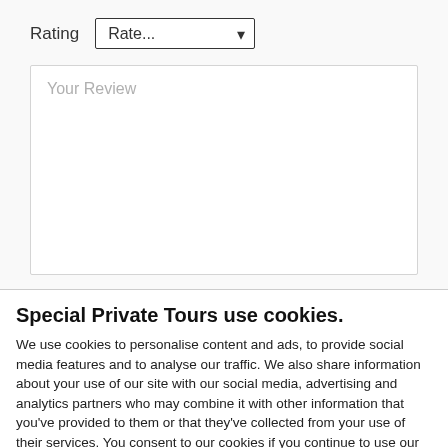Rating   Rate...
Your Review
Special Private Tours use cookies.
We use cookies to personalise content and ads, to provide social media features and to analyse our traffic. We also share information about your use of our site with our social media, advertising and analytics partners who may combine it with other information that you've provided to them or that they've collected from your use of their services. You consent to our cookies if you continue to use our website.
Use necessary cookies only
Allow all cookies
Show details